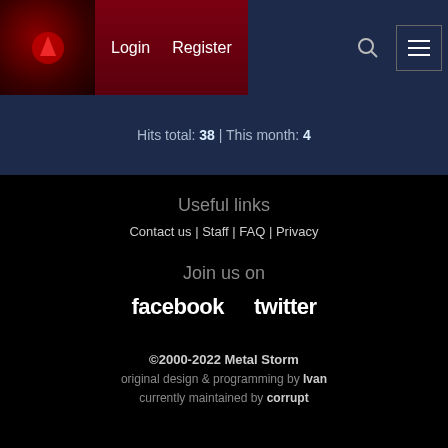Login   Register
Hits total: 38 | This month: 4
Useful links
Contact us | Staff | FAQ | Privacy
Join us on
facebook   twitter
©2000-2022 Metal Storm
original design & programming by Ivan
currently maintained by corrupt